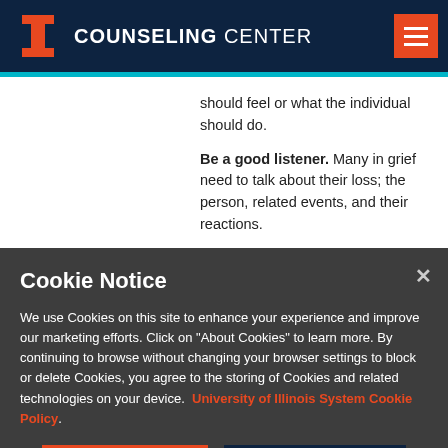COUNSELING CENTER
should feel or what the individual should do.
Be a good listener. Many in grief need to talk about their loss; the person, related events, and their reactions.
Cookie Notice
We use Cookies on this site to enhance your experience and improve our marketing efforts. Click on "About Cookies" to learn more. By continuing to browse without changing your browser settings to block or delete Cookies, you agree to the storing of Cookies and related technologies on your device. University of Illinois System Cookie Policy